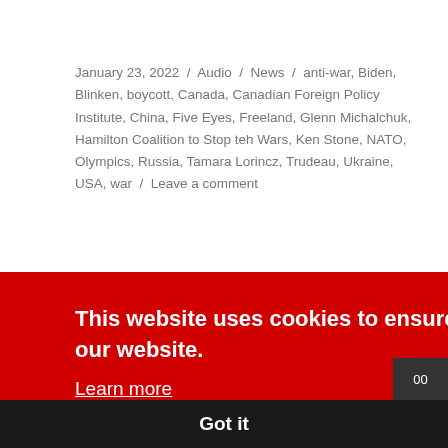January 23, 2022 / Audio / News / anti-war, Biden, Blinken, boycott, Canada, Canadian Foreign Policy Institute, China, Five Eyes, Freeland, Glenn Michalchuk, Hamilton Coalition to Stop teh Wars, Ken Stone, NATO, Olympics, Russia, Tamara Lorincz, Trudeau, Ukraine, USA, war / Leave a comment
This website uses cookies to ensure you get the best experience on our website.
Learn more
Got it